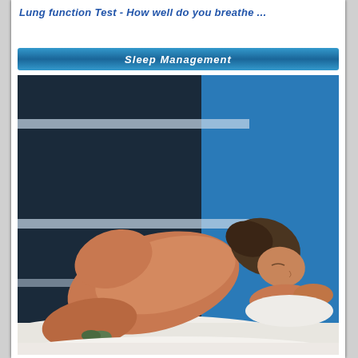Lung function Test - How well do you breathe ...
Sleep Management
[Figure (photo): A person lying asleep on a white surface, viewed from behind, with a blue geometric background featuring horizontal light-colored stripes on dark panels.]